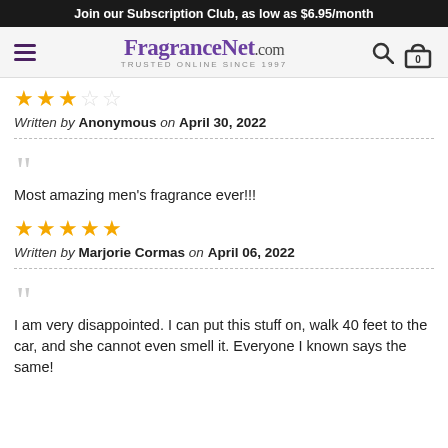Join our Subscription Club, as low as $6.95/month
[Figure (logo): FragranceNet.com logo with hamburger menu, search icon, and cart icon showing 0 items]
[Figure (other): 3 filled stars and 2 empty stars rating]
Written by Anonymous on April 30, 2022
Most amazing men's fragrance ever!!!
[Figure (other): 5 filled stars rating]
Written by Marjorie Cormas on April 06, 2022
I am very disappointed. I can put this stuff on, walk 40 feet to the car, and she cannot even smell it. Everyone I known says the same!